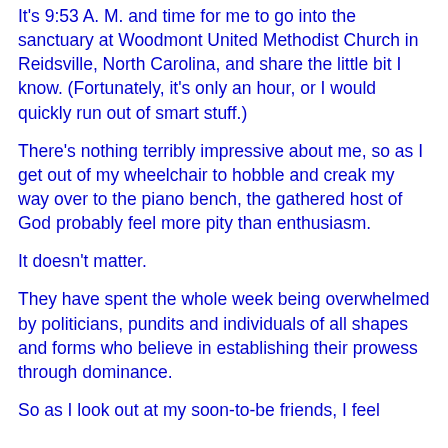It's 9:53 A. M. and time for me to go into the sanctuary at Woodmont United Methodist Church in Reidsville, North Carolina, and share the little bit I know. (Fortunately, it's only an hour, or I would quickly run out of smart stuff.)
There's nothing terribly impressive about me, so as I get out of my wheelchair to hobble and creak my way over to the piano bench, the gathered host of God probably feel more pity than enthusiasm.
It doesn't matter.
They have spent the whole week being overwhelmed by politicians, pundits and individuals of all shapes and forms who believe in establishing their prowess through dominance.
So as I look out at my soon-to-be friends, I feel